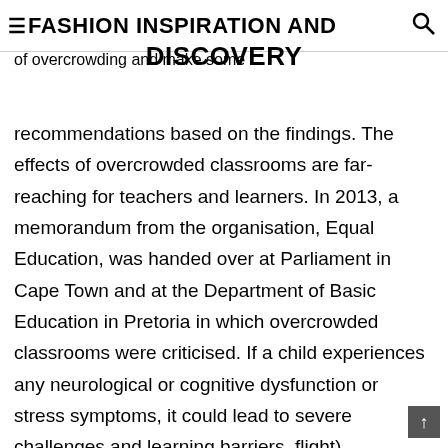≡FASHION INSPIRATION AND DISCOVERY
of overcrowding and make some recommendations based on the findings. The effects of overcrowded classrooms are far-reaching for teachers and learners. In 2013, a memorandum from the organisation, Equal Education, was handed over at Parliament in Cape Town and at the Department of Basic Education in Pretoria in which overcrowded classrooms were criticised. If a child experiences any neurological or cognitive dysfunction or stress symptoms, it could lead to severe challenges and learning barriers. flight).